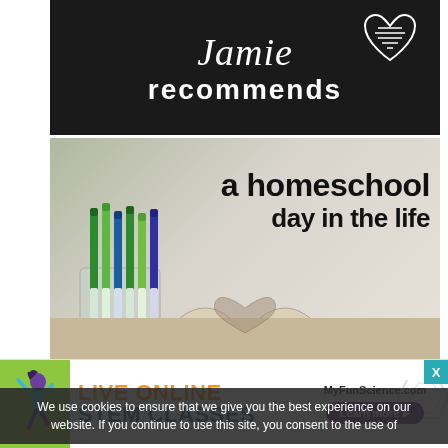[Figure (photo): Dark chalkboard background with white script text 'Jamie recommends' and a hand-drawn heart outline in the upper right corner]
[Figure (photo): Photo of an open book with pages folded into a heart shape, green markers in a jar on the left side, with large bold text 'a homeschool day in the life' overlaid on the right]
We use cookies to ensure that we give you the best experience on our website. If you continue to use this site, you consent to the use of
[Figure (infographic): Advertisement banner for MyFunScience.com LIVE ONLINE STEM CLASSES with a jumping figure silhouette on green background and Learn more button]